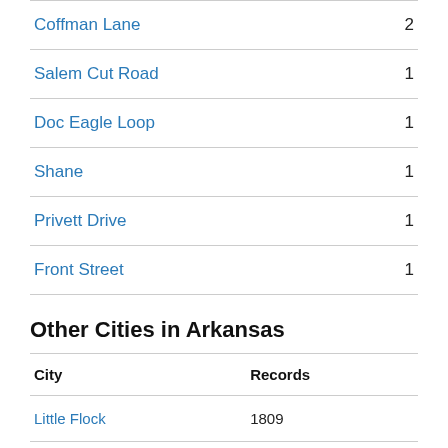| Street | Count |
| --- | --- |
| Coffman Lane | 2 |
| Salem Cut Road | 1 |
| Doc Eagle Loop | 1 |
| Shane | 1 |
| Privett Drive | 1 |
| Front Street | 1 |
Other Cities in Arkansas
| City | Records |
| --- | --- |
| Little Flock | 1809 |
| Little Rock | 134389 |
| Lockesburg | 1487 |